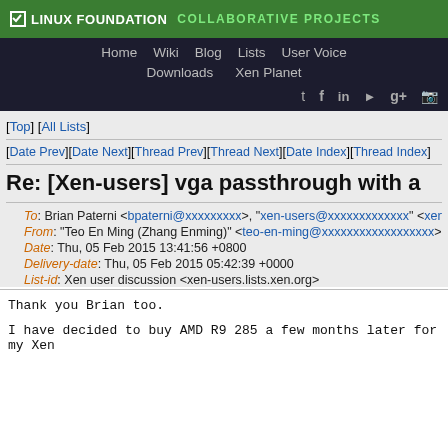LINUX FOUNDATION COLLABORATIVE PROJECTS
Home Wiki Blog Lists User Voice Downloads Xen Planet
[Top] [All Lists]
[Date Prev][Date Next][Thread Prev][Thread Next][Date Index][Thread Index]
Re: [Xen-users] vga passthrough with a
To: Brian Paterni <bpaterni@xxxxxxxxx>, "xen-users@xxxxxxxxxxxxx" <xen-
From: "Teo En Ming (Zhang Enming)" <teo-en-ming@xxxxxxxxxxxxxxxxxx>
Date: Thu, 05 Feb 2015 13:41:56 +0800
Delivery-date: Thu, 05 Feb 2015 05:42:39 +0000
List-id: Xen user discussion <xen-users.lists.xen.org>
Thank you Brian too.
I have decided to buy AMD R9 285 a few months later for my Xen